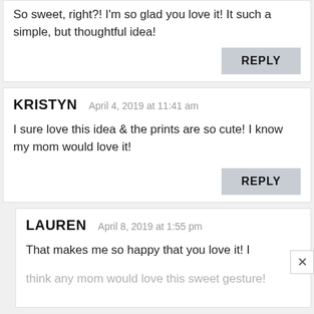So sweet, right?! I'm so glad you love it! It such a simple, but thoughtful idea!
REPLY
KRISTYN  April 4, 2019 at 11:41 am
I sure love this idea & the prints are so cute! I know my mom would love it!
REPLY
LAUREN  April 8, 2019 at 1:55 pm
That makes me so happy that you love it! I think any mom would love this sweet gesture!